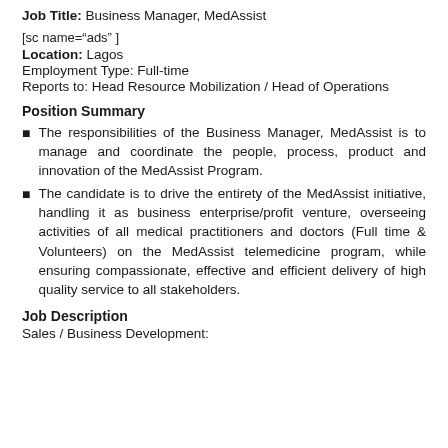Job Title: Business Manager, MedAssist
[sc name="ads" ]
Location: Lagos
Employment Type: Full-time
Reports to: Head Resource Mobilization / Head of Operations
Position Summary
The responsibilities of the Business Manager, MedAssist is to manage and coordinate the people, process, product and innovation of the MedAssist Program.
The candidate is to drive the entirety of the MedAssist initiative, handling it as business enterprise/profit venture, overseeing activities of all medical practitioners and doctors (Full time & Volunteers) on the MedAssist telemedicine program, while ensuring compassionate, effective and efficient delivery of high quality service to all stakeholders.
Job Description
Sales / Business Development: